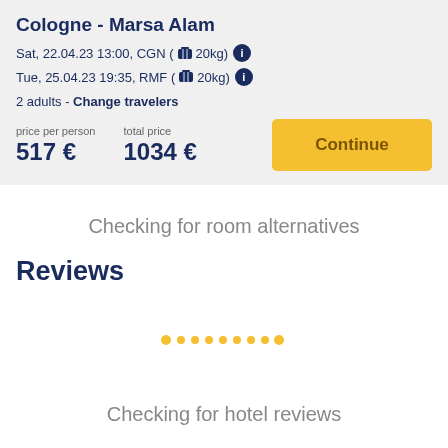Cologne - Marsa Alam
Sat, 22.04.23 13:00, CGN ( 🧳 20kg) ℹ
Tue, 25.04.23 19:35, RMF ( 🧳 20kg) ℹ
2 adults - Change travelers
price per person
517 €
total price
1034 €
Checking for room alternatives
Reviews
[Figure (other): Loading dots animation - 9 small dots in a row, colored in yellow/gold]
Checking for hotel reviews